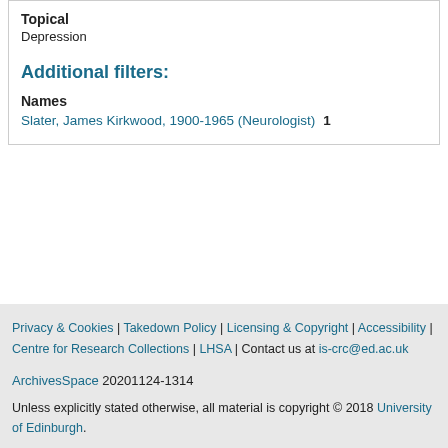Topical
Depression
Additional filters:
Names
Slater, James Kirkwood, 1900-1965 (Neurologist)  1
Privacy & Cookies | Takedown Policy | Licensing & Copyright | Accessibility | Centre for Research Collections | LHSA | Contact us at is-crc@ed.ac.uk
ArchivesSpace 20201124-1314
Unless explicitly stated otherwise, all material is copyright © 2018 University of Edinburgh.